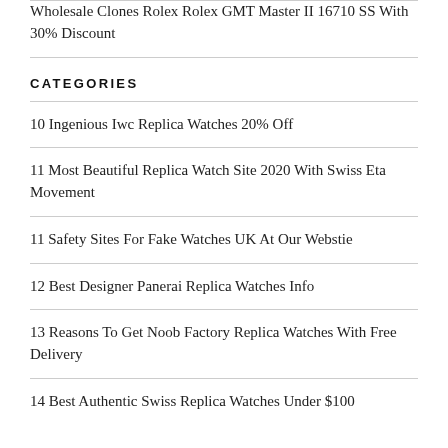Wholesale Clones Rolex Rolex GMT Master II 16710 SS With 30% Discount
CATEGORIES
10 Ingenious Iwc Replica Watches 20% Off
11 Most Beautiful Replica Watch Site 2020 With Swiss Eta Movement
11 Safety Sites For Fake Watches UK At Our Webstie
12 Best Designer Panerai Replica Watches Info
13 Reasons To Get Noob Factory Replica Watches With Free Delivery
14 Best Authentic Swiss Replica Watches Under $100